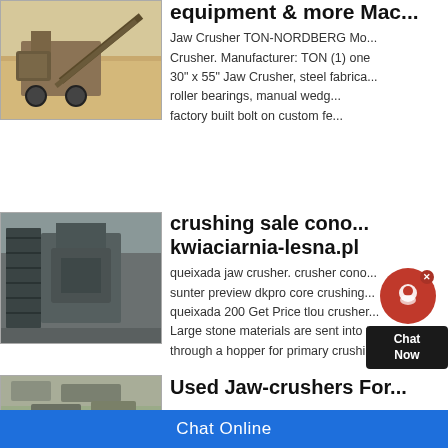[Figure (photo): Mobile jaw crusher machine on a construction/mining site, brown sandy environment]
equipment & more Mac...
Jaw Crusher TON-NORDBERG Mo... Crusher. Manufacturer: TON (1) one 30" x 55" Jaw Crusher, steel fabrica... roller bearings, manual wedg... factory built bolt on custom fe...
[Figure (photo): Large industrial cone/jaw crusher structure, grey metal, aerial/ground view]
crushing sale cono ... kwiaciarnia-lesna.pl
queixada jaw crusher. crusher cono... sunter preview dkpro core crushing... queixada 200 Get Price tlou crusher... Large stone materials are sent into t... through a hopper for primary crushi...
[Figure (photo): Aerial view of a jaw crusher or quarry operation]
Used Jaw-crushers For...
Chat Online